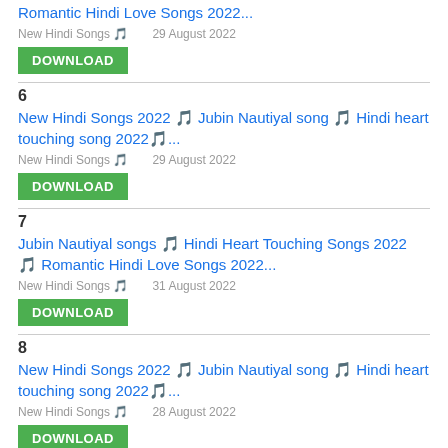Romantic Hindi Love Songs 2022...
New Hindi Songs 🎵   29 August 2022
DOWNLOAD
6
New Hindi Songs 2022 🎵 Jubin Nautiyal song 🎵 Hindi heart touching song 2022🎵...
New Hindi Songs 🎵   29 August 2022
DOWNLOAD
7
Jubin Nautiyal songs 🎵 Hindi Heart Touching Songs 2022 🎵 Romantic Hindi Love Songs 2022...
New Hindi Songs 🎵   31 August 2022
DOWNLOAD
8
New Hindi Songs 2022 🎵 Jubin Nautiyal song 🎵 Hindi heart touching song 2022🎵...
New Hindi Songs 🎵   28 August 2022
DOWNLOAD
9
New Hindi Song 2021 - arijit singh,Atif Aslam,Neha Kakkar,Armaan Malik,Shreya Ghoshal...